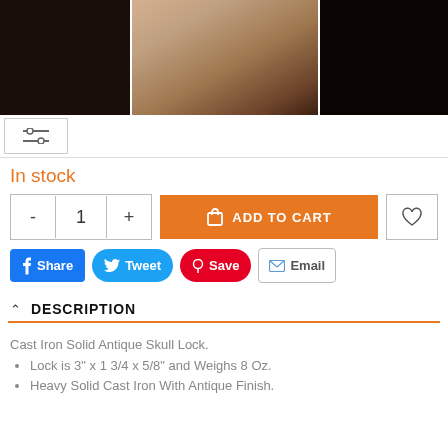[Figure (photo): Product photo strip showing cast iron skull lock from multiple angles against dark background]
[Figure (screenshot): Toolbar/filter icon UI element with horizontal sliders icon]
In stock
[Figure (screenshot): Add to cart UI: quantity selector with minus/1/plus, orange ADD TO CART button, heart/wishlist button]
[Figure (screenshot): Social sharing buttons: Share (Facebook), Tweet (Twitter), Save (Pinterest), Email]
DESCRIPTION
Cast Iron Solid Antique Skull Lock.
Lock is 3" x 1 3/4 x 5/8" and Weighs 8 Oz.
Heavy Solid Cast Iron With Antique Finish.